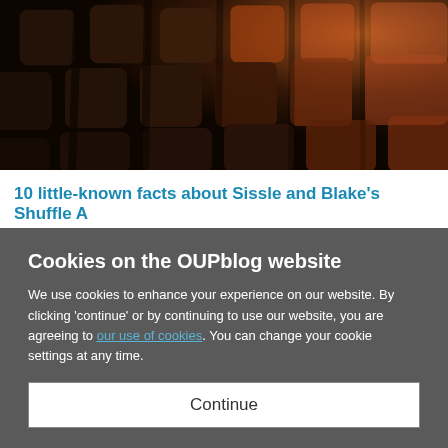[Figure (photo): Theater or auditorium seats viewed from above at an angle, dark chairs with warm backlighting]
10 little-known facts about Sissle and Blake's Shuffle A
Recent Comments
Cookies on the OUPblog website
We use cookies to enhance your experience on our website. By clicking 'continue' or by continuing to use our website, you are agreeing to our use of cookies. You can change your cookie settings at any time.